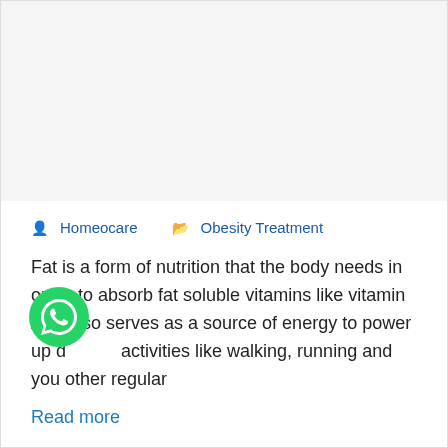[Figure (photo): Blank/placeholder image area at top of article card]
🧑 Homeocare 📁 Obesity Treatment
Fat is a form of nutrition that the body needs in order to absorb fat soluble vitamins like vitamin A. It also serves as a source of energy to power up daily activities like walking, running and you other regular
Read more